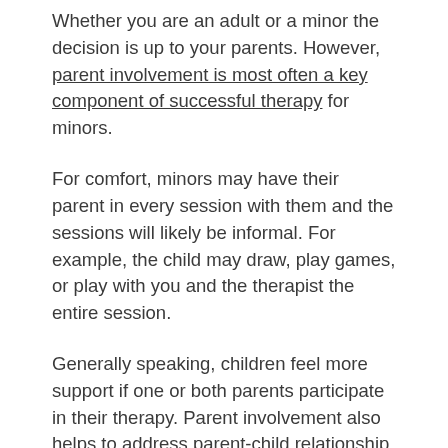Whether you are an adult or a minor the decision is up to your parents. However, parent involvement is most often a key component of successful therapy for minors.
For comfort, minors may have their parent in every session with them and the sessions will likely be informal. For example, the child may draw, play games, or play with you and the therapist the entire session.
Generally speaking, children feel more support if one or both parents participate in their therapy. Parent involvement also helps to address parent-child relationship issues and helps children to better utilize their tools and resources. At the very least, therapists will consult with the parents after sessions.